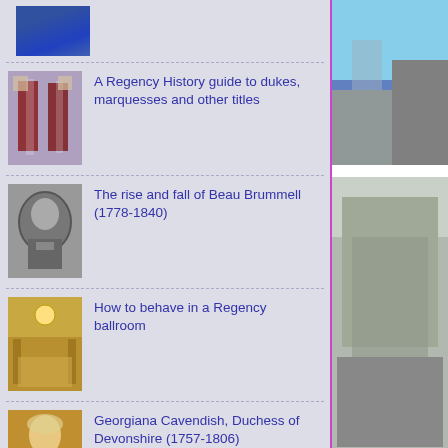[Figure (photo): Partial view of classical architecture with blue columns, cropped at top]
A Regency History guide to dukes, marquesses and other titles
The rise and fall of Beau Brummell (1778-1840)
How to behave in a Regency ballroom
Georgiana Cavendish, Duchess of Devonshire (1757-1806)
[Figure (photo): Blue sky and buildings photo on right side top]
[Figure (photo): Building exterior photo on right side bottom]